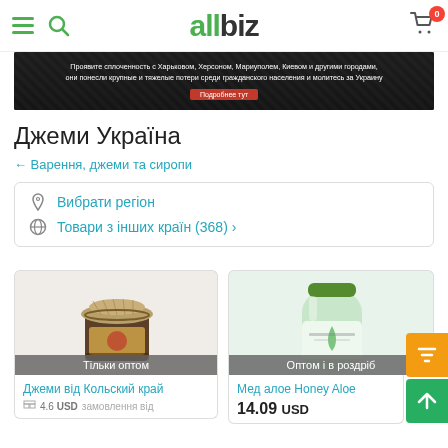allbiz
[Figure (photo): Dark banner with text about solidarity with Ukrainian cities. Red button 'Подробнее тут'.]
Джеми Україна
← Варення, джеми та сиропи
Вибрати регіон
Товари з інших країн (368) >
[Figure (photo): Jam jar with burlap cover and label, badge: Тільки оптом]
Джеми від Кольский край
4.6 USD замовлення від
[Figure (photo): Green aloe bottle/jar, badge: Оптом і в роздріб]
Мед алое Honey Aloe
14.09 USD